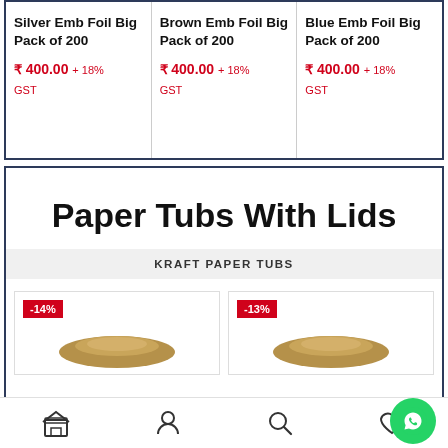Silver Emb Foil Big Pack of 200
₹ 400.00 + 18% GST
Brown Emb Foil Big Pack of 200
₹ 400.00 + 18% GST
Blue Emb Foil Big Pack of 200
₹ 400.00 + 18% GST
Paper Tubs With Lids
KRAFT PAPER TUBS
[Figure (photo): Product card with -14% badge showing a round kraft paper tub lid]
[Figure (photo): Product card with -13% badge showing a round kraft paper tub lid]